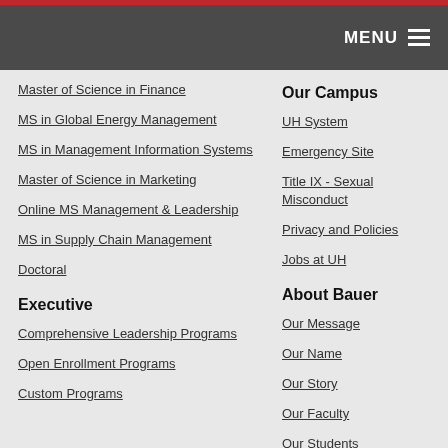MENU
Master of Science in Finance
MS in Global Energy Management
MS in Management Information Systems
Master of Science in Marketing
Online MS Management & Leadership
MS in Supply Chain Management
Doctoral
Executive
Comprehensive Leadership Programs
Open Enrollment Programs
Custom Programs
Our Campus
UH System
Emergency Site
Title IX - Sexual Misconduct
Privacy and Policies
Jobs at UH
About Bauer
Our Message
Our Name
Our Story
Our Faculty
Our Students
Our Learning Goals
Our Rankings
Our Mission